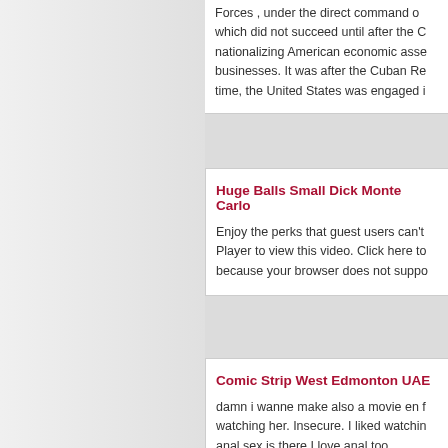Forces , under the direct command of which did not succeed until after the C nationalizing American economic asse businesses. It was after the Cuban Re time, the United States was engaged i
Huge Balls Small Dick Monte Carlo
Enjoy the perks that guest users can't Player to view this video. Click here to because your browser does not suppo
Comic Strip West Edmonton UAE
damn i wanne make also a movie en f watching her. Insecure. I liked watchin anal sex is there I love anal too.
Equity's the name of the game today.